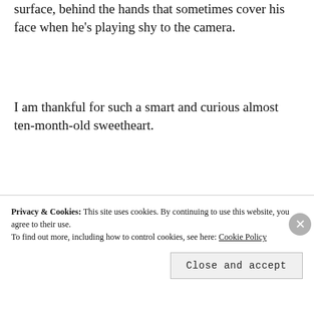surface, behind the hands that sometimes cover his face when he’s playing shy to the camera.
I am thankful for such a smart and curious almost ten-month-old sweetheart.
[Figure (photo): Young child covering face with hands and smiling, photographed indoors]
Privacy & Cookies: This site uses cookies. By continuing to use this website, you agree to their use. To find out more, including how to control cookies, see here: Cookie Policy
Close and accept